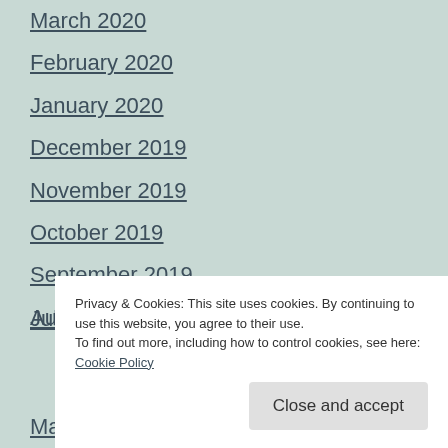March 2020
February 2020
January 2020
December 2019
November 2019
October 2019
September 2019
August 2019
July 2019
March 2019
Privacy & Cookies: This site uses cookies. By continuing to use this website, you agree to their use. To find out more, including how to control cookies, see here: Cookie Policy
Close and accept